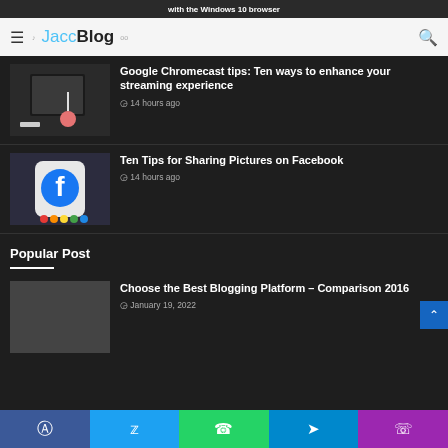with the Windows 10 browser
JaccBlog
Google Chromecast tips: Ten ways to enhance your streaming experience
14 hours ago
[Figure (photo): Chromecast device plugged into TV]
Ten Tips for Sharing Pictures on Facebook
14 hours ago
[Figure (photo): Hand holding phone with Facebook app open]
Popular Post
Choose the Best Blogging Platform – Comparison 2016
January 19, 2022
[Figure (photo): Placeholder image for popular post]
Facebook  Twitter  WhatsApp  Telegram  Phone